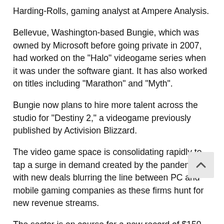Harding-Rolls, gaming analyst at Ampere Analysis.
Bellevue, Washington-based Bungie, which was owned by Microsoft before going private in 2007, had worked on the "Halo" videogame series when it was under the software giant. It has also worked on titles including "Marathon" and "Myth".
Bungie now plans to hire more talent across the studio for "Destiny 2," a videogame previously published by Activision Blizzard.
The video game space is consolidating rapidly to tap a surge in demand created by the pandemic, with new deals blurring the line between PC and mobile gaming companies as these firms hunt for new revenue streams.
The sector is on course for a new record of $150 billion in deals, financing and IPOs this year, according